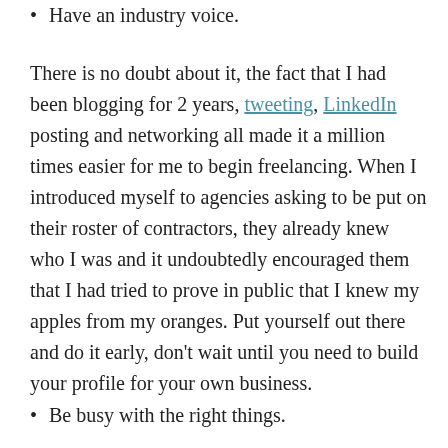Have an industry voice.
There is no doubt about it, the fact that I had been blogging for 2 years, tweeting, LinkedIn posting and networking all made it a million times easier for me to begin freelancing. When I introduced myself to agencies asking to be put on their roster of contractors, they already knew who I was and it undoubtedly encouraged them that I had tried to prove in public that I knew my apples from my oranges. Put yourself out there and do it early, don't wait until you need to build your profile for your own business.
Be busy with the right things.